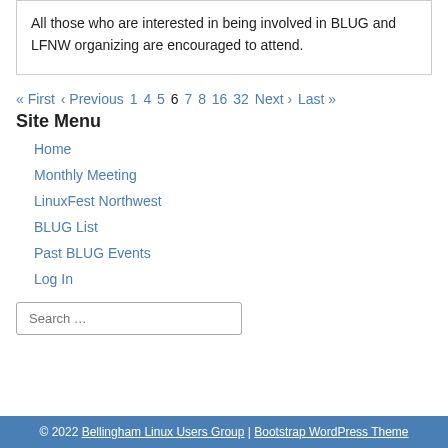All those who are interested in being involved in BLUG and LFNW organizing are encouraged to attend.
« First ‹ Previous 1 4 5 6 7 8 16 32 Next › Last »
Site Menu
Home
Monthly Meeting
LinuxFest Northwest
BLUG List
Past BLUG Events
Log In
Search …
© 2022 Bellingham Linux Users Group | Bootstrap WordPress Theme